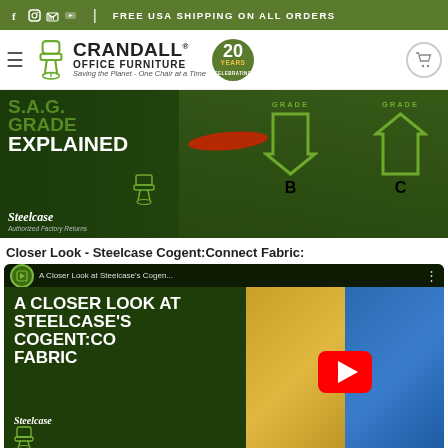FREE USA SHIPPING ON ALL ORDERS
[Figure (logo): Crandall Office Furniture logo with chair icon, 20 Years Celebrating badge, and tagline: Saving the Planet - One Chair at a Time]
[Figure (screenshot): Steelcase SAG Grade Explained video thumbnail with Grade B and Grade C badges and arrows]
Closer Look - Steelcase Cogent:Connect Fabric:
[Figure (screenshot): YouTube video thumbnail: A Closer Look at Steelcase's Cogent:Connect Fabric - showing text 'A CLOSER LOOK AT STEELCASE'S COGENT:CONNECT FABRIC' over fabric texture background with YouTube play button]